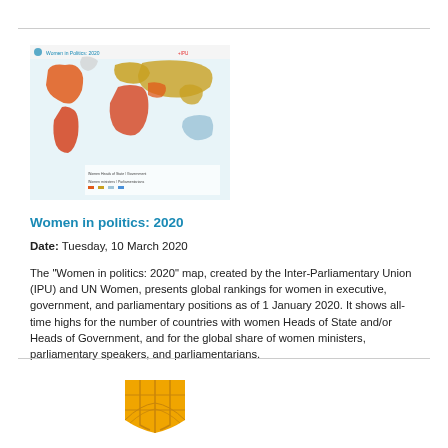[Figure (map): World map titled 'Women in Politics: 2020' with colorful country highlights showing rankings for women in political positions]
Women in politics: 2020
Date: Tuesday, 10 March 2020
The "Women in politics: 2020" map, created by the Inter-Parliamentary Union (IPU) and UN Women, presents global rankings for women in executive, government, and parliamentary positions as of 1 January 2020. It shows all-time highs for the number of countries with women Heads of State and/or Heads of Government, and for the global share of women ministers, parliamentary speakers, and parliamentarians.
[Figure (logo): Partial yellow/gold logo or emblem visible at the bottom of the page]